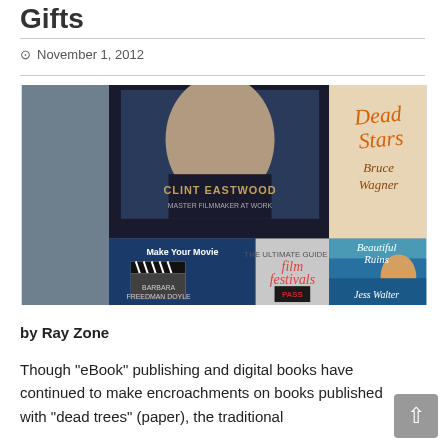Gifts
November 1, 2012
[Figure (photo): Collage of book covers including Clint Eastwood: Master Filmmaker at Work, Dead Stars by Bruce Wagner, Make Your Movie, Film Festivals, and Beautiful Ruins by Jess Walter, with a blurred portrait in the background.]
by Ray Zone
Though "eBook" publishing and digital books have continued to make encroachments on books published with "dead trees" (paper), the traditional